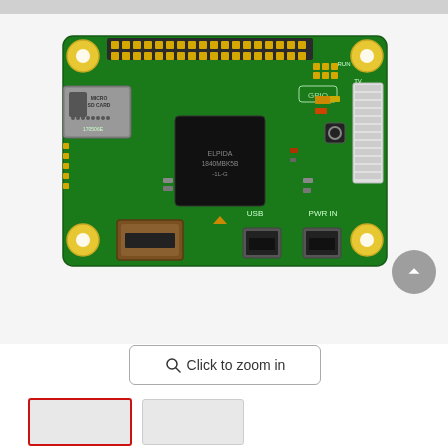[Figure (photo): Photo of a Raspberry Pi Zero W single-board computer showing green PCB with GPIO header pins at top, micro SD card slot on left, HDMI port bottom-left, two micro USB ports at bottom, camera connector on right, and yellow mounting hole rings at corners. 'GPIO', 'USB', 'PWR IN', 'MICRO SD CARD' labels visible on the board.]
Click to zoom in